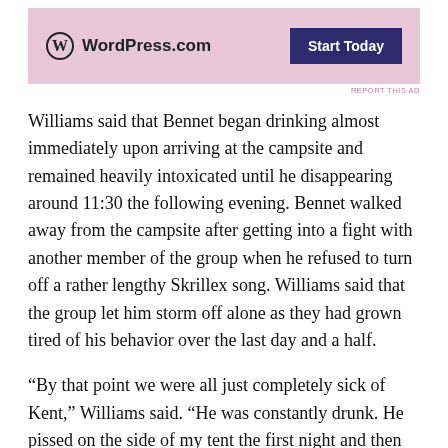[Figure (other): WordPress.com advertisement banner with logo and 'Start Today' button on pink/lavender background]
REPORT THIS AD
Williams said that Bennet began drinking almost immediately upon arriving at the campsite and remained heavily intoxicated until he disappearing around 11:30 the following evening. Bennet walked away from the campsite after getting into a fight with another member of the group when he refused to turn off a rather lengthy Skrillex song. Williams said that the group let him storm off alone as they had grown tired of his behavior over the last day and a half.
“By that point we were all just completely sick of Kent,” Williams said. “He was constantly drunk. He pissed on the side of my tent the first night and then threw rocks at a rabbit during our hike the next day. No matter how much we tried to ignore him, he just kept telling us these obviously fake stories, yelling